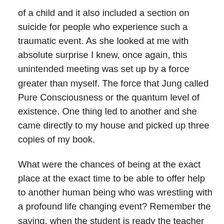of a child and it also included a section on suicide for people who experience such a traumatic event. As she looked at me with absolute surprise I knew, once again, this unintended meeting was set up by a force greater than myself. The force that Jung called Pure Consciousness or the quantum level of existence. One thing led to another and she came directly to my house and picked up three copies of my book.
What were the chances of being at the exact place at the exact time to be able to offer help to another human being who was wrestling with a profound life changing event? Remember the saying, when the student is ready the teacher comes along? We all fall into both categories of being either student or teacher throughout our life experiences.